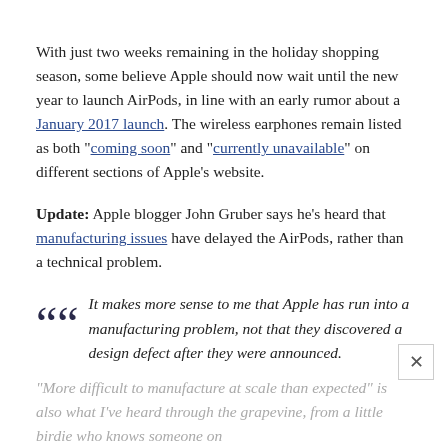With just two weeks remaining in the holiday shopping season, some believe Apple should now wait until the new year to launch AirPods, in line with an early rumor about a January 2017 launch. The wireless earphones remain listed as both "coming soon" and "currently unavailable" on different sections of Apple's website.
Update: Apple blogger John Gruber says he's heard that manufacturing issues have delayed the AirPods, rather than a technical problem.
It makes more sense to me that Apple has run into a manufacturing problem, not that they discovered a design defect after they were announced.
"More difficult to manufacture at scale than expected" is also what I've heard through the grapevine, from a little birdie who knows someone on